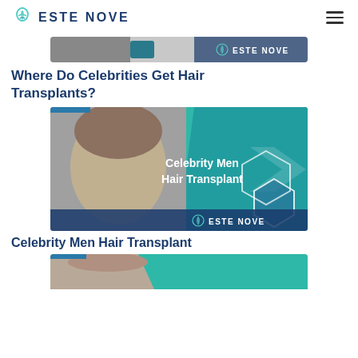ESTE NOVE
[Figure (photo): Este Nove banner image partially cropped at top showing logo]
Where Do Celebrities Get Hair Transplants?
[Figure (photo): Celebrity Men Hair Transplant promotional image with man touching his hair]
Celebrity Men Hair Transplant
[Figure (photo): Another Este Nove promotional image partially visible at bottom]